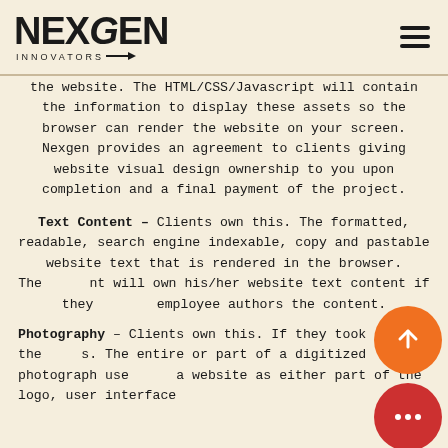NEXGEN INNOVATORS
the website. The HTML/CSS/Javascript will contain the information to display these assets so the browser can render the website on your screen. Nexgen provides an agreement to clients giving website visual design ownership to you upon completion and a final payment of the project.
Text Content – Clients own this. The formatted, readable, search engine indexable, copy and pastable website text that is rendered in the browser. The client will own his/her website text content if they or employee authors the content.
Photography – Clients own this. If they took the photos. The entire or part of a digitized photograph used on a website as either part of the logo, user interface